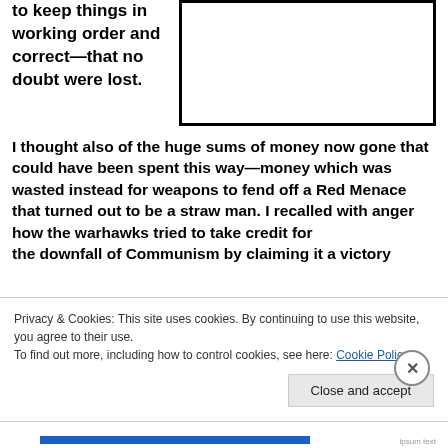to keep things in working order and correct—that no doubt were lost.
[Figure (other): Empty white box with thick black border]
I thought also of the huge sums of money now gone that could have been spent this way—money which was wasted instead for weapons to fend off a Red Menace that turned out to be a straw man. I recalled with anger how the warhawks tried to take credit for the downfall of Communism by claiming it a victory
Privacy & Cookies: This site uses cookies. By continuing to use this website, you agree to their use.
To find out more, including how to control cookies, see here: Cookie Policy
Close and accept